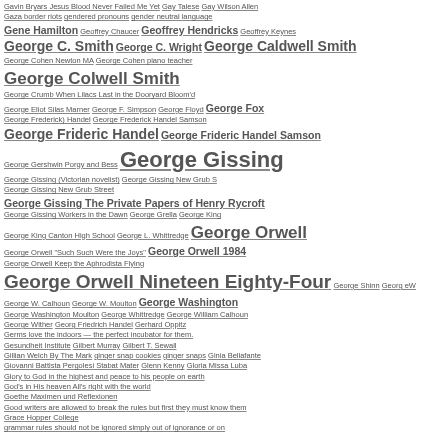Gavin Bryars Jesus Blood Never Failed Me Yet  Gay Talese  Gay Wilson Allen  Gaza border riots  gendered pronouns  gender neutral language  Gene Hamilton  Geoffrey Chaucer  Geoffrey Hendricks  Geoffrey Keynes  George C. Smith  George C. Wright  George Caldwell Smith  George Cohen Newton MA  George Cohen piano teacher  George Colwell Smith  George Crumb When Lilacs Last in the Dooryard Bloom'd  George Eliot Silas Marner  George F. Simpson  George Floyd  George Fox  George Frederick) Handel  George Frederick Handel Samson  George Frideric Handel  George Frideric Handel Samson  George Gershwin Porgy and Bess  George Gissing  George Gissing (Victorian novelist)  George Gissing New Grub S  George Gissing New Grub Street  George Gissing The Private Papers of Henry Rycroft  George Gissing Workers in the Dawn  George Grella  George King  George King Canton High School  George L. Whittredge  George Orwell  George Orwell "Such Such Were the Joys"  George Orwell 1984  George Orwell Keep the Aphrodista Flying  George Orwell Nineteen Eighty-Four  George Shinn  Georg eW  George W. Calhoun  George W. Moulton  George Washington  George Washington Moulton  George Whittredge  George William Calhoun  George Wither  Georg Friedrich Handel  Gerhard Oppitz  Germs love the indoors — the perfect incubator for them.  Gesundheit Institute  Gilbert Murray  Gilbert T. Sewall  Gillian Welch By The Mark  ginger snap cookies  ginger snaps  Ginia Bellafante  Giovanni Battista Pergolesi Stabat Mater  Glenn Kenny  Gloria Missa Luba  Glory to God in the highest and peace to his people on earth  God's in His heaven All's right with the world  Goethe Maximen und Reflexionen  Good writers are allowed to break the rules but first they must know them  Grace Hopper College  grammar rules should not be ignored simply out of ignorance or on